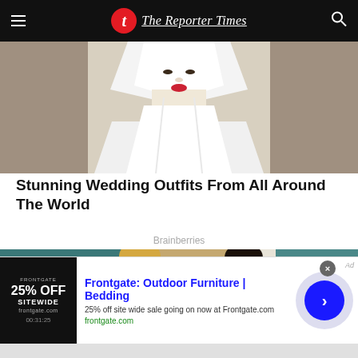The Reporter Times
[Figure (photo): Woman wearing a traditional white Japanese wedding kimono and white tsunokakushi hood, with red lips, cropped to show face and upper body]
Stunning Wedding Outfits From All Around The World
Brainberries
[Figure (photo): Two women smiling and waving at a venue with teal and gold decorations in the background]
[Figure (screenshot): Frontgate advertisement banner: Frontgate: Outdoor Furniture | Bedding. 25% off site wide sale going on now at Frontgate.com. frontgate.com. Shows product image with 25% OFF SITEWIDE text and navigation arrow button.]